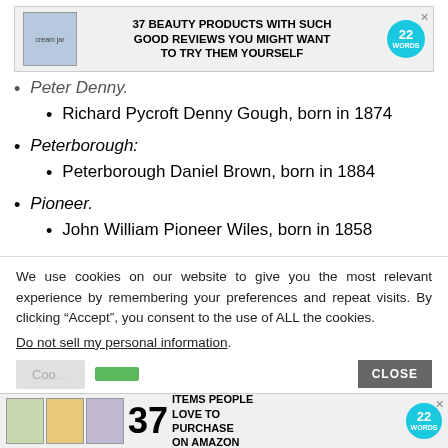[Figure (other): Advertisement banner: '37 BEAUTY PRODUCTS WITH SUCH GOOD REVIEWS YOU MIGHT WANT TO TRY THEM YOURSELF' with product image and 22 Words badge]
Peter Denny:
Richard Pycroft Denny Gough, born in 1874
Peterborough:
Peterborough Daniel Brown, born in 1884
Pioneer:
John William Pioneer Wiles, born in 1858
We use cookies on our website to give you the most relevant experience by remembering your preferences and repeat visits. By clicking “Accept”, you consent to the use of ALL the cookies.
Do not sell my personal information.
[Figure (other): Advertisement banner: '37 ITEMS PEOPLE LOVE TO PURCHASE ON AMAZON' with 22 Words badge and lifestyle images]